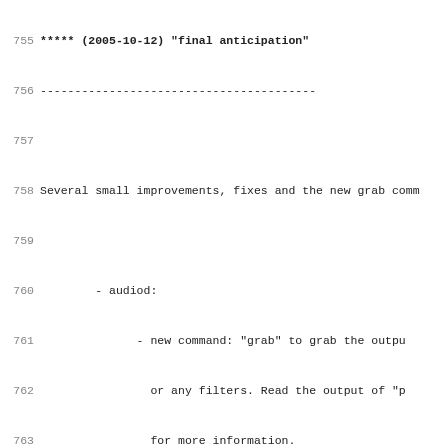755  ***** (2005-10-12) "final anticipation"
756  ----------------------------------------
757
758  Several small improvements, fixes and the new grab comm
759
760       - audiod:
761             - new command: "grab" to grab the outpu
762               or any filters. Read the output of "p
763               for more information.
764             - fix memory leak
765             - code cleanup
766       - audioc: new command line option: --bufsize to
767         buffer size different from the default size 8
768       - improved error diagnostics for para_play.
769       - new configure option: --enable-ssldir so sear
770         non-standard places
771       - sdl_gui: Make it look nice again for 1024x768
772       - server: report total size of memory allocated
773         new command line option: --announce_time
774
775  ----------------------------------------
776  0.2.3 (2005-09-01) "hydrophilic movement"
777  ----------------------------------------
778
779  Two new executables and major feature enhancements.
780
781       - audiod filters: It is now possible to specify
782         (including none) filters for each supported a
783         format. This can be used e.g. for normalizing
784         transforming or grabbing the audio stream, or
785         visualizers.  Read the output of "para_audiod
786         syntax of the new --filter_cmd option.
787       - new executable: para_play, a tiny alsa playe